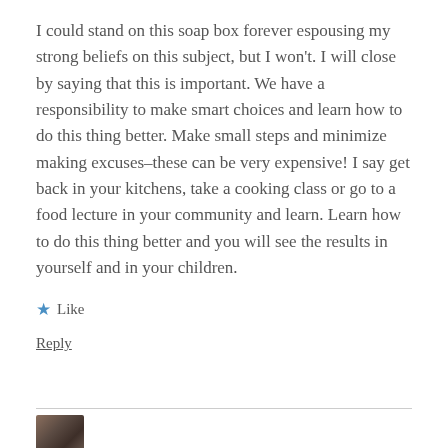I could stand on this soap box forever espousing my strong beliefs on this subject, but I won't. I will close by saying that this is important. We have a responsibility to make smart choices and learn how to do this thing better. Make small steps and minimize making excuses–these can be very expensive! I say get back in your kitchens, take a cooking class or go to a food lecture in your community and learn. Learn how to do this thing better and you will see the results in yourself and in your children.
★ Like
Reply